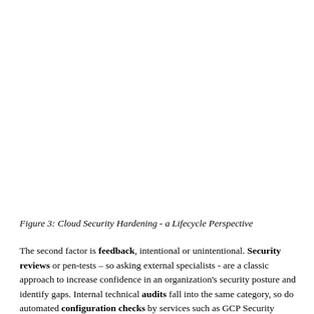Figure 3: Cloud Security Hardening - a Lifecycle Perspective
The second factor is feedback, intentional or unintentional. Security reviews or pen-tests – so asking external specialists - are a classic approach to increase confidence in an organization's security posture and identify gaps. Internal technical audits fall into the same category, so do automated configuration checks by services such as GCP Security Center or Microsoft Defender. Compromises at the edge are the most complex data in...